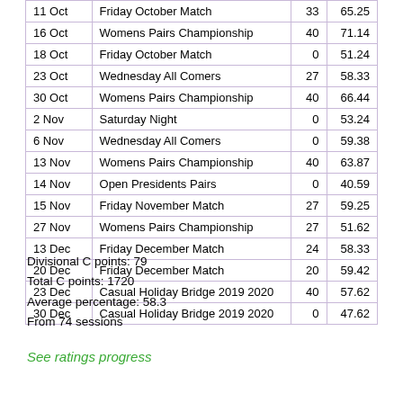| Date | Event | Pts | % |
| --- | --- | --- | --- |
| 11 Oct | Friday October Match | 33 | 65.25 |
| 16 Oct | Womens Pairs Championship | 40 | 71.14 |
| 18 Oct | Friday October Match | 0 | 51.24 |
| 23 Oct | Wednesday All Comers | 27 | 58.33 |
| 30 Oct | Womens Pairs Championship | 40 | 66.44 |
| 2 Nov | Saturday Night | 0 | 53.24 |
| 6 Nov | Wednesday All Comers | 0 | 59.38 |
| 13 Nov | Womens Pairs Championship | 40 | 63.87 |
| 14 Nov | Open Presidents Pairs | 0 | 40.59 |
| 15 Nov | Friday November Match | 27 | 59.25 |
| 27 Nov | Womens Pairs Championship | 27 | 51.62 |
| 13 Dec | Friday December Match | 24 | 58.33 |
| 20 Dec | Friday December Match | 20 | 59.42 |
| 23 Dec | Casual Holiday Bridge 2019 2020 | 40 | 57.62 |
| 30 Dec | Casual Holiday Bridge 2019 2020 | 0 | 47.62 |
Divisional C points: 79
Total C points: 1720
Average percentage: 58.3
From 74 sessions
See ratings progress